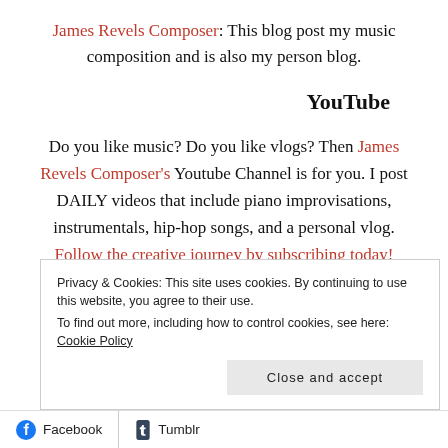James Revels Composer: This blog post my music composition and is also my person blog.
YouTube
Do you like music? Do you like vlogs? Then James Revels Composer's Youtube Channel is for you. I post DAILY videos that include piano improvisations, instrumentals, hip-hop songs, and a personal vlog. Follow the creative journey by subscribing today!
Privacy & Cookies: This site uses cookies. By continuing to use this website, you agree to their use. To find out more, including how to control cookies, see here: Cookie Policy
Facebook  Tumblr